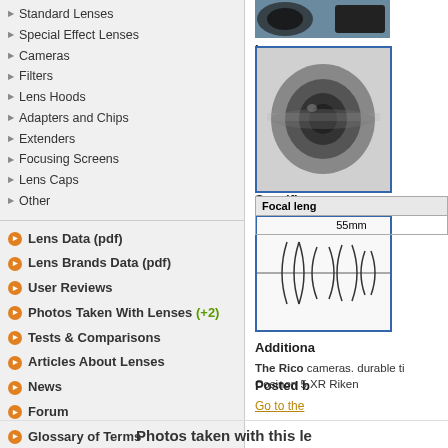Standard Lenses
Special Effect Lenses
Cameras
Filters
Lens Hoods
Adapters and Chips
Extenders
Focusing Screens
Lens Caps
Other
Lens Data (pdf)
Lens Brands Data (pdf)
User Reviews
Photos Taken With Lenses (+2)
Tests & Comparisons
Articles About Lenses
News
Forum
Glossary of Terms
[Figure (photo): Photo of a camera lens from the front]
Lens mo
First yea
Optical d
[Figure (photo): Side view photo of a 55mm camera lens]
Optical design
Specifica
[Figure (schematic): Optical design diagram showing lens elements]
| Focal leng |
| --- |
| 55mm |
Additiona
The Rico cameras. durable ti Cosinon 5 XR Riken
Posted b
Go to the
Photos taken with this le